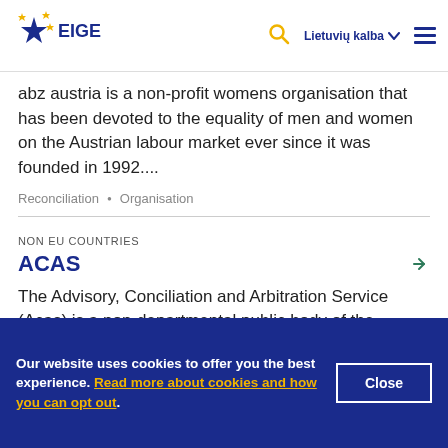EIGE — Lietuvių kalba
abz austria is a non-profit womens organisation that has been devoted to the equality of men and women on the Austrian labour market ever since it was founded in 1992....
Reconciliation • Organisation
NON EU COUNTRIES
ACAS
The Advisory, Conciliation and Arbitration Service (Acas) is a non-departmental public body of the Government of the United Kingdom....
Reconciliation • Organisation
Our website uses cookies to offer you the best experience. Read more about cookies and how you can opt out.